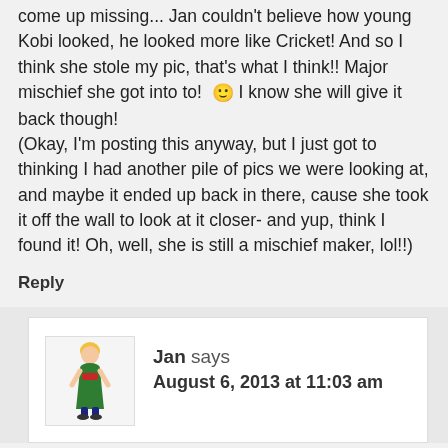come up missing... Jan couldn't believe how young Kobi looked, he looked more like Cricket! And so I think she stole my pic, that's what I think!! Major mischief she got into to! ! 🙂 I know she will give it back though!
(Okay, I'm posting this anyway, but I just got to thinking I had another pile of pics we were looking at, and maybe it ended up back in there, cause she took it off the wall to look at it closer- and yup, think I found it! Oh, well, she is still a mischief maker, lol!!)
Reply
[Figure (illustration): Avatar illustration of a person in a green dress with blonde hair, resembling a festive character]
Jan says
August 6, 2013 at 11:03 am